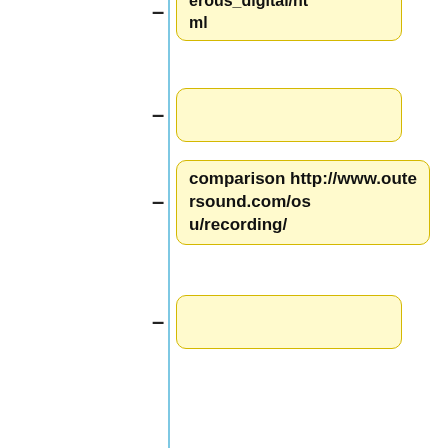erous_digital/html
comparison http://www.outersound.com/osu/recording/
ana-dig.html
Number Systems
{|
|Hexadecimal Base 16 ||Decimal Base 10 || Octal Base 8 || Binary Base 2